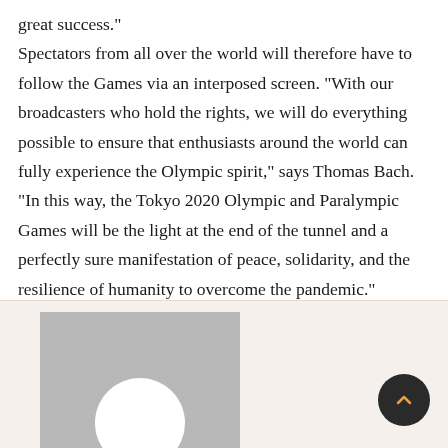great success."
Spectators from all over the world will therefore have to follow the Games via an interposed screen. "With our broadcasters who hold the rights, we will do everything possible to ensure that enthusiasts around the world can fully experience the Olympic spirit," says Thomas Bach. "In this way, the Tokyo 2020 Olympic and Paralympic Games will be the light at the end of the tunnel and a perfectly sure manifestation of peace, solidarity, and the resilience of humanity to overcome the pandemic."
[Figure (photo): A placeholder avatar image with a grey background and white circular silhouette representing a person, at the bottom of the page. A dark circular back-to-top button with a chevron arrow is in the bottom right.]